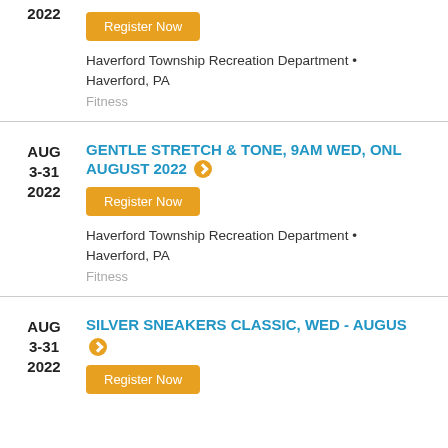2022
Register Now
Haverford Township Recreation Department • Haverford, PA
Fitness
AUG 3-31 2022
GENTLE STRETCH & TONE, 9AM WED, ONLINE - AUGUST 2022
Register Now
Haverford Township Recreation Department • Haverford, PA
Fitness
AUG 3-31 2022
SILVER SNEAKERS CLASSIC, WED - AUGUST
Register Now